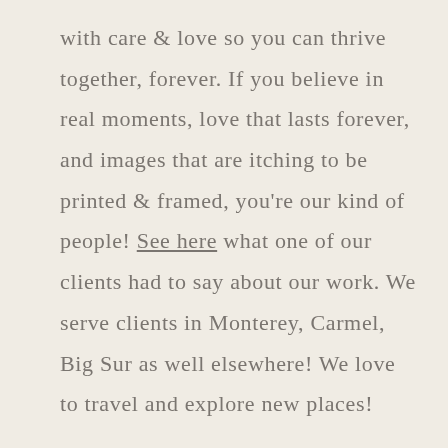with care & love so you can thrive together, forever. If you believe in real moments, love that lasts forever, and images that are itching to be printed & framed, you're our kind of people! See here what one of our clients had to say about our work. We serve clients in Monterey, Carmel, Big Sur as well elsewhere! We love to travel and explore new places!